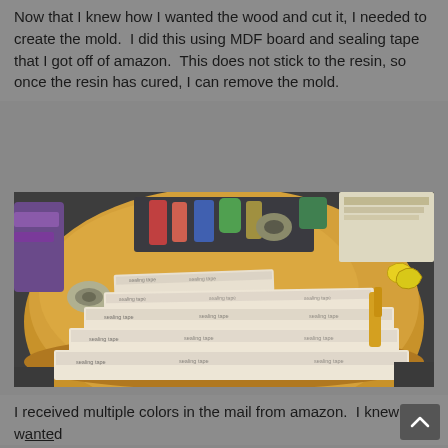Now that I knew how I wanted the wood and cut it, I needed to create the mold.  I did this using MDF board and sealing tape that I got off of amazon.  This does not stick to the resin, so once the resin has cured, I can remove the mold.
[Figure (photo): Photo of MDF boards covered with sealing tape laid out on a round wooden table. Various craft supplies visible on the table including tape rolls, scissors, and other items.]
I received multiple colors in the mail from amazon.  I knew I wanted